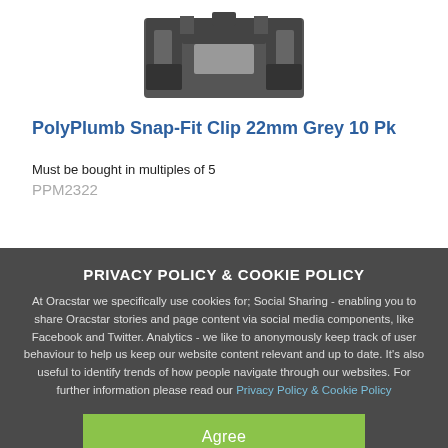[Figure (photo): Product photo of PolyPlumb Snap-Fit Clip 22mm Grey, showing a dark grey plastic pipe clip bracket viewed from the front, with a channel cut-out shape.]
PolyPlumb Snap-Fit Clip 22mm Grey 10 Pk
Must be bought in multiples of 5
PPM2322
PRIVACY POLICY & COOKIE POLICY
At Oracstar we specifically use cookies for; Social Sharing - enabling you to share Oracstar stories and page content via social media components, like Facebook and Twitter. Analytics - we like to anonymously keep track of user behaviour to help us keep our website content relevant and up to date. It's also useful to identify trends of how people navigate through our websites. For further information please read our Privacy Policy & Cookie Policy
Agree